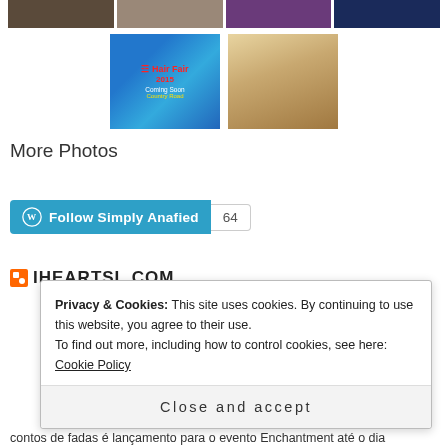[Figure (photo): Row of four thumbnail photos at top of page]
[Figure (photo): Two larger photos: a Hair Fair 2015 poster and a blonde woman illustration]
More Photos
[Figure (other): Follow Simply Anafied button with WordPress logo and count of 64]
IHEARTSL.COM
Privacy & Cookies: This site uses cookies. By continuing to use this website, you agree to their use.
To find out more, including how to control cookies, see here: Cookie Policy
Close and accept
contos de fadas é lançamento para o evento Enchantment até o dia